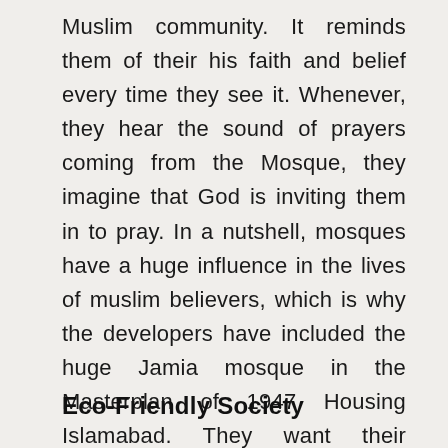Muslim community. It reminds them of their his faith and belief every time they see it. Whenever, they hear the sound of prayers coming from the Mosque, they imagine that God is inviting them in to pray. In a nutshell, mosques have a huge influence in the lives of muslim believers, which is why the developers have included the huge Jamia mosque in the Masterplan of 1947 Housing Islamabad. They want their residents to remain faithful to their religion and pray five times a day at a mosque.
Eco-Friendly Society